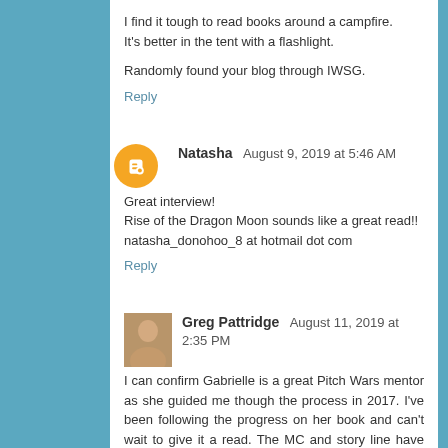I find it tough to read books around a campfire. It's better in the tent with a flashlight.
Randomly found your blog through IWSG.
Reply
Natasha  August 9, 2019 at 5:46 AM
Great interview!
Rise of the Dragon Moon sounds like a great read!!
natasha_donohoo_8 at hotmail dot com
Reply
Greg Pattridge  August 11, 2019 at 2:35 PM
I can confirm Gabrielle is a great Pitch Wars mentor as she guided me though the process in 2017. I've been following the progress on her book and can't wait to give it a read. The MC and story line have me hooked. Thanks so